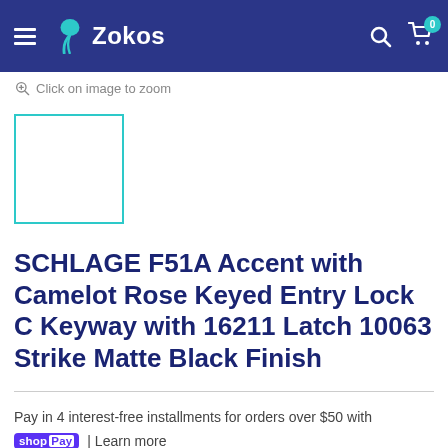Zokos — navigation bar with hamburger menu, logo, search icon, and cart (0)
Click on image to zoom
[Figure (photo): Product thumbnail placeholder — empty white square with teal border]
SCHLAGE F51A Accent with Camelot Rose Keyed Entry Lock C Keyway with 16211 Latch 10063 Strike Matte Black Finish
Pay in 4 interest-free installments for orders over $50 with
shop Pay | Learn more